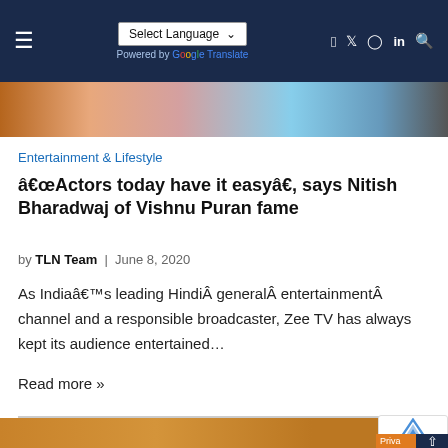Select Language | Powered by Google Translate | Social icons
[Figure (photo): Top banner image showing colorful scene with people in traditional/festive attire]
Entertainment & Lifestyle
â€œActors today have it easyâ€, says Nitish Bharadwaj of Vishnu Puran fame
by TLN Team  |  June 8, 2020
As Indiaâ€™s leading HindiÂ generalÂ entertainmentÂ channel and a responsible broadcaster, Zee TV has always kept its audience entertained…
Read more »
[Figure (photo): Bottom partial image showing a person, appears to be in front of bookshelves]